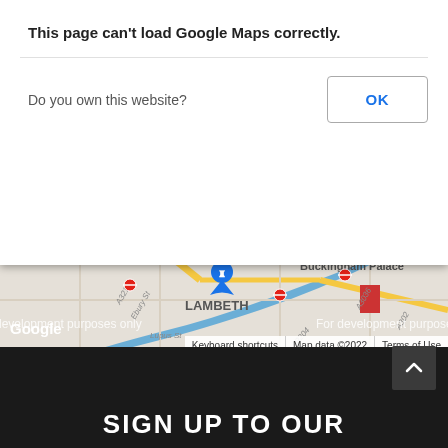[Figure (map): Google Maps screenshot showing central London area including landmarks: Buckingham Palace, Borough Market, Belgravia, Westminster, Victoria, Lambeth, Pimlico areas. Map shows roads, River Thames (blue), green parks. Overlaid with 'For development purposes only' watermarks. Shows Google logo and footer bar with Keyboard shortcuts, Map data ©2022, Terms of Use.]
This page can't load Google Maps correctly.
Do you own this website?
OK
For development purposes only
Google
Keyboard shortcuts
Map data ©2022
Terms of Use
SIGN UP TO OUR